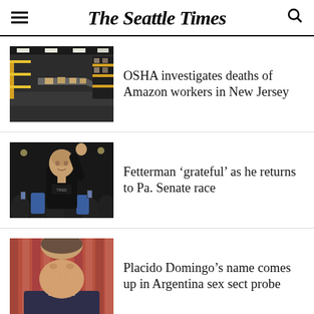The Seattle Times
[Figure (photo): Amazon warehouse interior with conveyor belts and boxes]
OSHA investigates deaths of Amazon workers in New Jersey
[Figure (photo): John Fetterman waving to crowd at campaign event]
Fetterman ‘grateful’ as he returns to Pa. Senate race
[Figure (photo): Placido Domingo in front of red curtain]
Placido Domingo’s name comes up in Argentina sex sect probe